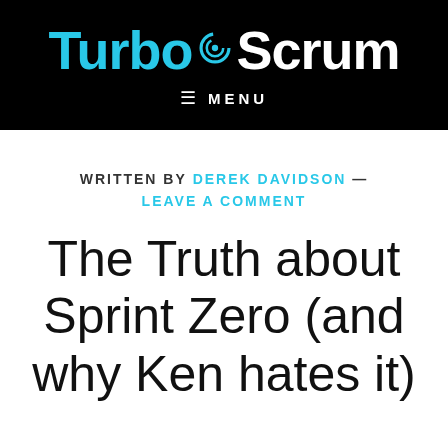[Figure (logo): TurboScrum logo with cyan and white text on black background, with a circular swirl graphic between Turbo and Scrum]
≡ MENU
WRITTEN BY DEREK DAVIDSON — LEAVE A COMMENT
The Truth about Sprint Zero (and why Ken hates it)